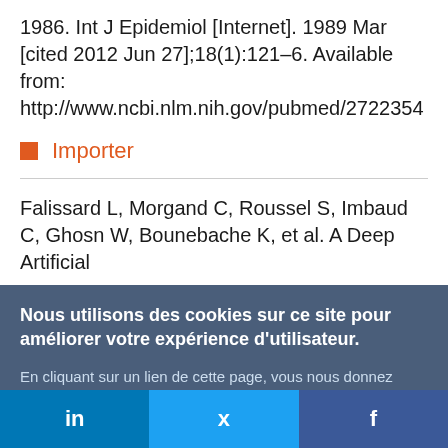1986. Int J Epidemiol [Internet]. 1989 Mar [cited 2012 Jun 27];18(1):121–6. Available from: http://www.ncbi.nlm.nih.gov/pubmed/2722354
Importer
Falissard L, Morgand C, Roussel S, Imbaud C, Ghosn W, Bounebache K, et al. A Deep Artificial
Nous utilisons des cookies sur ce site pour améliorer votre expérience d'utilisateur.

En cliquant sur un lien de cette page, vous nous donnez votre consentement de définir des cookies.
Oui, je suis d'accord
Plus d'infos
in  |  (Twitter bird)  |  f